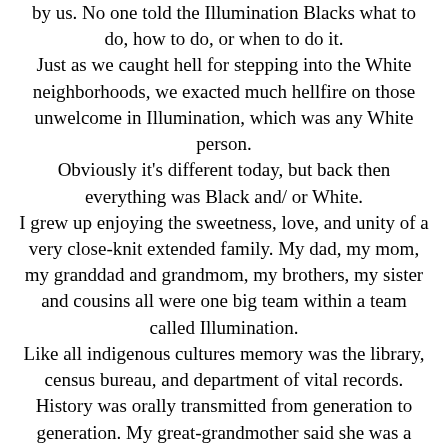by us. No one told the Illumination Blacks what to do, how to do, or when to do it. Just as we caught hell for stepping into the White neighborhoods, we exacted much hellfire on those unwelcome in Illumination, which was any White person. Obviously it's different today, but back then everything was Black and/ or White. I grew up enjoying the sweetness, love, and unity of a very close-knit extended family. My dad, my mom, my granddad and grandmom, my brothers, my sister and cousins all were one big team within a team called Illumination. Like all indigenous cultures memory was the library, census bureau, and department of vital records. History was orally transmitted from generation to generation. My great-grandmother said she was a Malaglasy Indian. The Malaglasy or Malagasy are the people of Madagascar. Madagascar is an island on the southeastern coast of Africa, resting on the Indian